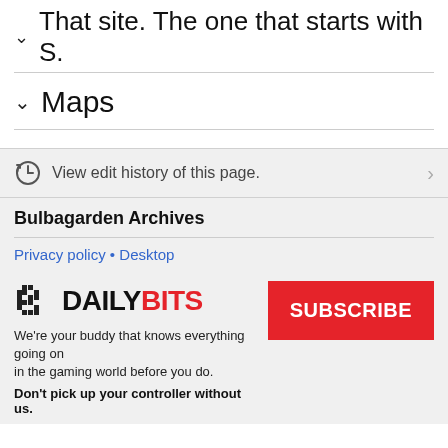That site. The one that starts with S.
Maps
View edit history of this page.
Bulbagarden Archives
Privacy policy • Desktop
[Figure (logo): DailyBits logo with pixelated icon, black DAILY and red BITS text]
We're your buddy that knows everything going on in the gaming world before you do.
Don't pick up your controller without us.
SUBSCRIBE